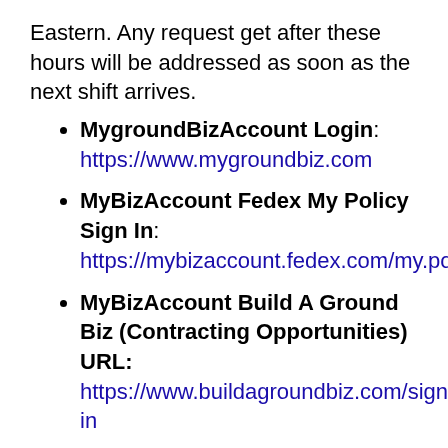Eastern. Any request get after these hours will be addressed as soon as the next shift arrives.
MygroundBizAccount Login: https://www.mygroundbiz.com
MyBizAccount Fedex My Policy Sign In: https://mybizaccount.fedex.com/my.policy
MyBizAccount Build A Ground Biz (Contracting Opportunities) URL: https://www.buildagroundbiz.com/sign-in
Official MyBiz Fedex password Reset